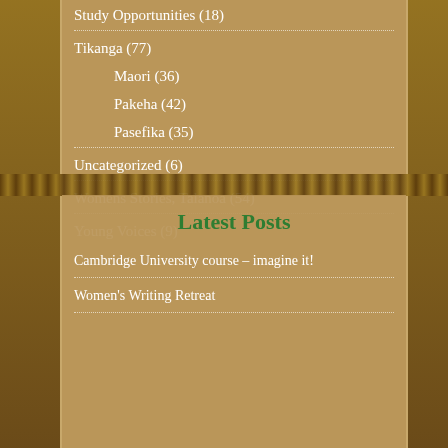Study Opportunities (18)
Tikanga (77)
Maori (36)
Pakeha (42)
Pasefika (35)
Uncategorized (6)
Womens Stories, Talanoa (54)
Young Voices (9)
Latest Posts
Cambridge University course – imagine it!
Women's Writing Retreat